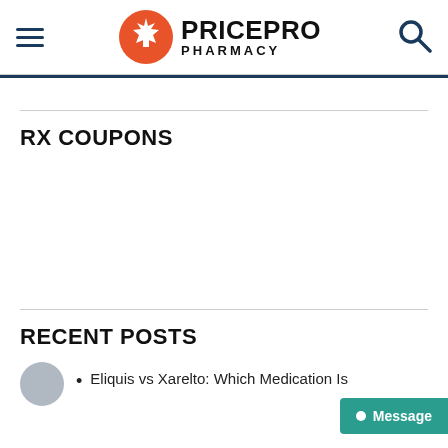PRICEPRO PHARMACY
RX COUPONS
RECENT POSTS
Eliquis vs Xarelto: Which Medication Is